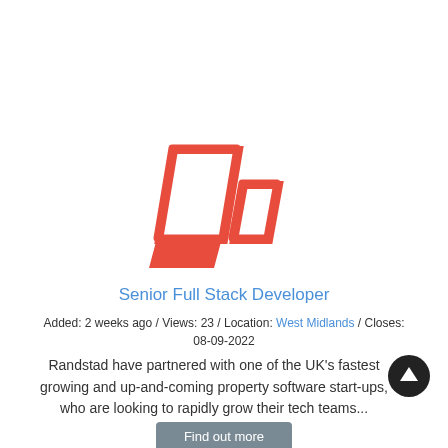[Figure (logo): Laravel framework logo — red/orange geometric bird/diamond shape made of overlapping parallelograms]
Senior Full Stack Developer
Added: 2 weeks ago / Views: 23 / Location: West Midlands / Closes: 08-09-2022
Randstad have partnered with one of the UK&#39;s fastest growing and up-and-coming property software start-ups, who are looking to rapidly grow their tech teams...
Find out more